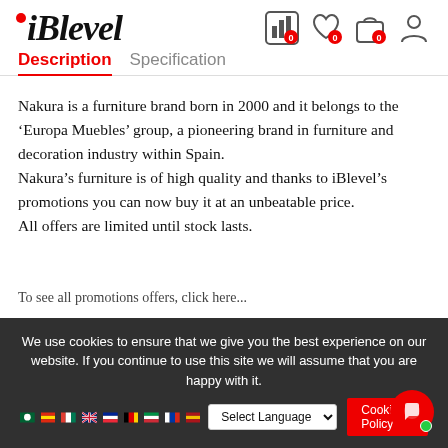iBlevel
Description   Specification
Nakura is a furniture brand born in 2000 and it belongs to the ‘Europa Muebles’ group, a pioneering brand in furniture and decoration industry within Spain. Nakura’s furniture is of high quality and thanks to iBlevel’s promotions you can now buy it at an unbeatable price. All offers are limited until stock lasts.
We use cookies to ensure that we give you the best experience on our website. If you continue to use this site we will assume that you are happy with it. Cookies Policy   Select Language